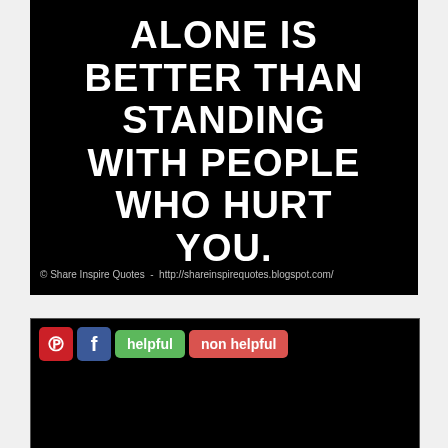[Figure (illustration): Black background motivational quote image with white bold uppercase text reading: ALONE IS BETTER THAN STANDING WITH PEOPLE WHO HURT YOU. Attribution at bottom: © Share Inspire Quotes - http://shareinspirequotes.blogspot.com/]
© Share Inspire Quotes  -  http://shareinspirequotes.blogspot.com/
[Figure (screenshot): Social sharing bar with Pinterest (red P icon), Facebook (blue f icon), green 'helpful' button, and red 'non helpful' button, on a black background panel.]